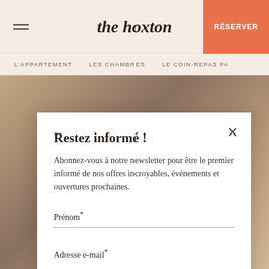the hoxton
RÉSERVER
L'APPARTEMENT   LES CHAMBRES   LE COIN-REPAS PA
Restez informé !
Abonnez-vous à notre newsletter pour être le premier informé de nos offres incroyables, événements et ouvertures prochaines.
Prénom*
Adresse e-mail*